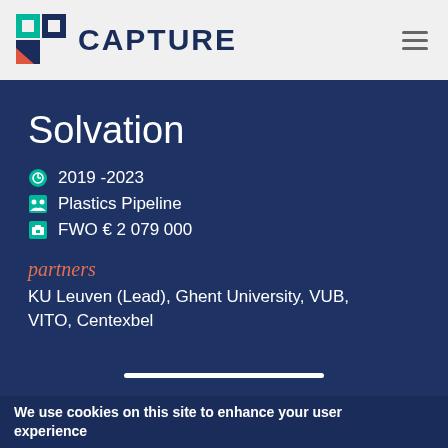CAPTURE
Solvation
2019 -2023
Plastics Pipeline
FWO € 2 079 000
partners
KU Leuven (Lead), Ghent University, VUB, VITO, Centexbel
We use cookies on this site to enhance your user experience